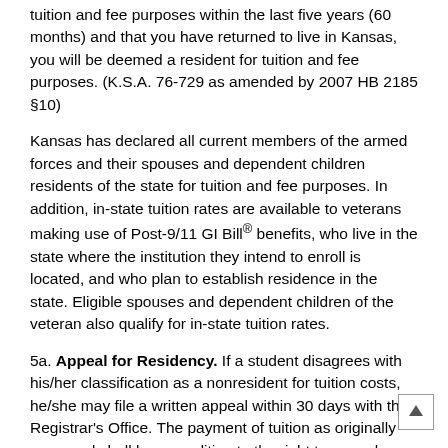tuition and fee purposes within the last five years (60 months) and that you have returned to live in Kansas, you will be deemed a resident for tuition and fee purposes. (K.S.A. 76-729 as amended by 2007 HB 2185 §10)
Kansas has declared all current members of the armed forces and their spouses and dependent children residents of the state for tuition and fee purposes. In addition, in-state tuition rates are available to veterans making use of Post-9/11 GI Bill® benefits, who live in the state where the institution they intend to enroll is located, and who plan to establish residence in the state. Eligible spouses and dependent children of the veteran also qualify for in-state tuition rates.
5a. Appeal for Residency. If a student disagrees with his/her classification as a nonresident for tuition costs, he/she may file a written appeal within 30 days with the Registrar's Office. The payment of tuition as originally assessed shall be a condition to the right to appeal.